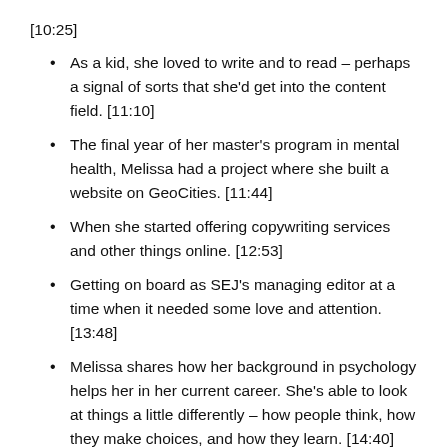[10:25]
As a kid, she loved to write and to read – perhaps a signal of sorts that she'd get into the content field. [11:10]
The final year of her master's program in mental health, Melissa had a project where she built a website on GeoCities. [11:44]
When she started offering copywriting services and other things online. [12:53]
Getting on board as SEJ's managing editor at a time when it needed some love and attention. [13:48]
Melissa shares how her background in psychology helps her in her current career. She's able to look at things a little differently – how people think, how they make choices, and how they learn. [14:40]